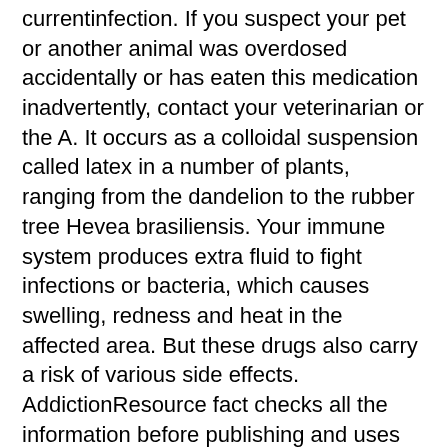currentinfection. If you suspect your pet or another animal was overdosed accidentally or has eaten this medication inadvertently, contact your veterinarian or the A. It occurs as a colloidal suspension called latex in a number of plants, ranging from the dandelion to the rubber tree Hevea brasiliensis. Your immune system produces extra fluid to fight infections or bacteria, which causes swelling, redness and heat in the affected area. But these drugs also carry a risk of various side effects. AddictionResource fact checks all the information before publishing and uses only credible and trusted sources when citing any medical data. An atypical finding is less serious and would have simply triggered further investigation, rather than a provisional ban. Well, I've been doing some research and have come up with what I think are the top five best legal steroids worth trying. Fluid and Electrolytes: Edema, retention of serum electrolytes sodium, chloride, potassium, phosphate, calcium. Topical